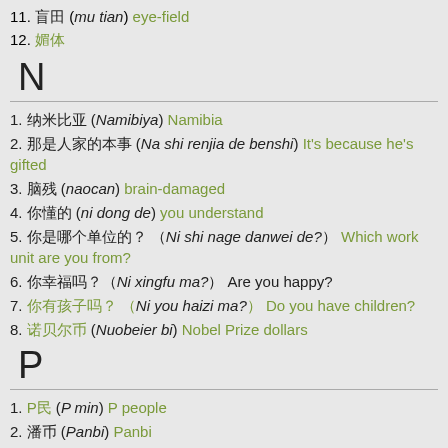11. 盲田 (mu tian) eye-field
12. 媚体
N
1. 纳米比亚 (Namibiya) Namibia
2. 那是人家的本事 (Na shi renjia de benshi) It's because he's gifted
3. 脑残 (naocan) brain-damaged
4. 你懂的 (ni dong de) you understand
5. 你是哪个单位的？（Ni shi nage danwei de?）Which work unit are you from?
6. 你幸福吗？（Ni xingfu ma?）Are you happy?
7. 你有孩子吗？（Ni you haizi ma?）Do you have children?
8. 诺贝尔币 (Nuobeier bi) Nobel Prize dollars
P
1. P民 (P min) P people
2. 潘币 (Panbi) Panbi